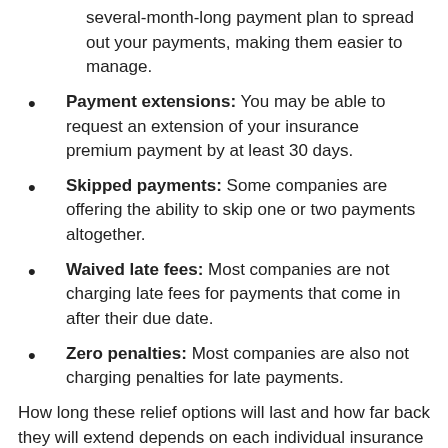several-month-long payment plan to spread out your payments, making them easier to manage.
Payment extensions: You may be able to request an extension of your insurance premium payment by at least 30 days.
Skipped payments: Some companies are offering the ability to skip one or two payments altogether.
Waived late fees: Most companies are not charging late fees for payments that come in after their due date.
Zero penalties: Most companies are also not charging penalties for late payments.
How long these relief options will last and how far back they will extend depends on each individual insurance company. Additionally, many companies are extending some or all of their relief options to other policies including homeowners'